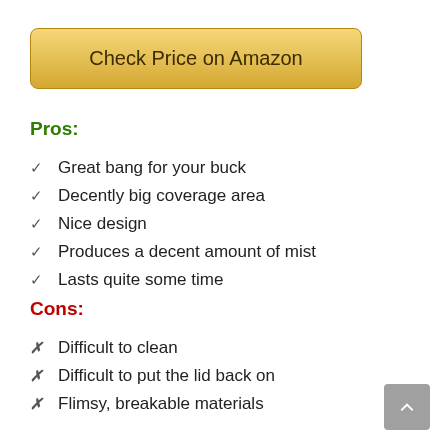[Figure (other): Golden 'Check Price on Amazon' button]
Pros:
Great bang for your buck
Decently big coverage area
Nice design
Produces a decent amount of mist
Lasts quite some time
Cons:
Difficult to clean
Difficult to put the lid back on
Flimsy, breakable materials